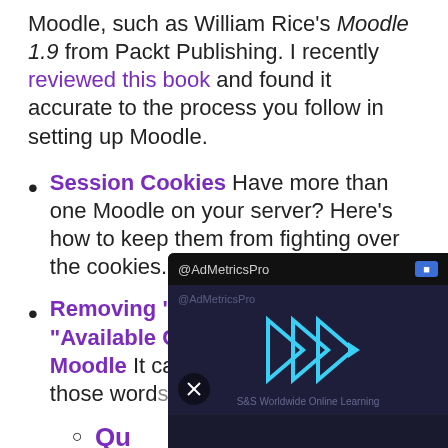Moodle, such as William Rice's Moodle 1.9 from Packt Publishing. I recently reviewed this book and found it accurate to the process you follow in setting up Moodle.
Session Cookies Have more than one Moodle on your server? Here's how to keep them from fighting over the cookies.
Removing "Topic Outline" and "Available Courses" from your Moodle It can be annoying to see those words don't want approaches
Qu... Mo...
[Figure (screenshot): AdMetricsPro video overlay advertisement showing a video player with blue play icon triangles and 'S&S Worldwide Online Learning' text on dark background]